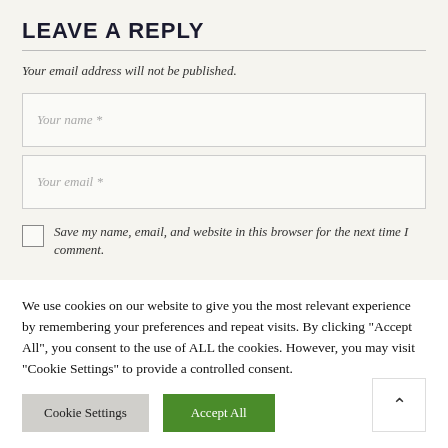LEAVE A REPLY
Your email address will not be published.
Your name *
Your email *
Save my name, email, and website in this browser for the next time I comment.
We use cookies on our website to give you the most relevant experience by remembering your preferences and repeat visits. By clicking "Accept All", you consent to the use of ALL the cookies. However, you may visit "Cookie Settings" to provide a controlled consent.
Cookie Settings
Accept All